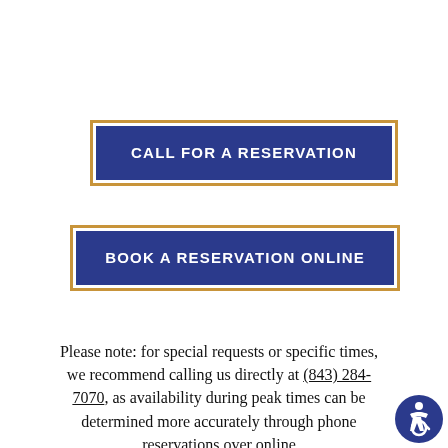[Figure (infographic): Blue button with gold border labeled CALL FOR A RESERVATION]
[Figure (infographic): Blue button with gold border labeled BOOK A RESERVATION ONLINE]
Please note: for special requests or specific times, we recommend calling us directly at (843) 284-7070, as availability during peak times can be determined more accurately through phone reservations over online